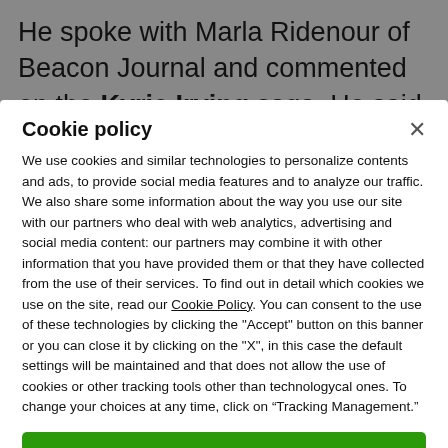He spoke with Marla Ridenour of Beacon Journal and commented on the Kyrie Irving saga. He said
Cookie policy
We use cookies and similar technologies to personalize contents and ads, to provide social media features and to analyze our traffic. We also share some information about the way you use our site with our partners who deal with web analytics, advertising and social media content: our partners may combine it with other information that you have provided them or that they have collected from the use of their services. To find out in detail which cookies we use on the site, read our Cookie Policy. You can consent to the use of these technologies by clicking the "Accept" button on this banner or you can close it by clicking on the "X", in this case the default settings will be maintained and that does not allow the use of cookies or other tracking tools other than technologycal ones. To change your choices at any time, click on “Tracking Management.”
ACCEPT
TRACKERS MANAGEMENT
Show vendors | Show purposes